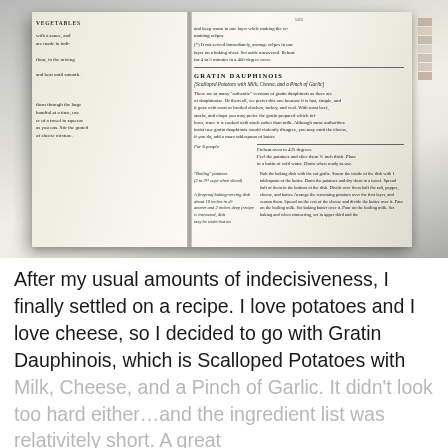[Figure (photo): Open cookbook showing a recipe page for Gratin Dauphinois (Scalloped Potatoes with Milk, Cheese, and a Pinch of Garlic), photographed at an angle on a light gray surface.]
After my usual amounts of indecisiveness, I finally settled on a recipe. I love potatoes and I love cheese, so I decided to go with Gratin Dauphinois, which is Scalloped Potatoes with Milk, Cheese, and a Pinch of Garlic. It didn't look too hard either…and the ingredient list was relativitely short. A great